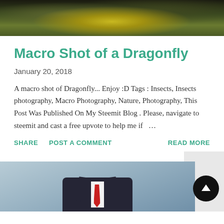[Figure (photo): Top portion of a macro photograph showing a dragonfly with yellow/green wings against a dark bokeh background]
Macro Shot of a Dragonfly
January 20, 2018
A macro shot of Dragonfly... Enjoy :D Tags : Insects, Insects photography, Macro Photography, Nature, Photography, This Post Was Published On My Steemit Blog . Please, navigate to steemit and cast a free upvote to help me if ...
SHARE   POST A COMMENT   READ MORE
[Figure (photo): Bottom portion showing a person in a dark suit with white shirt and red tie against a gray/blue background, photo cropped at shoulders]